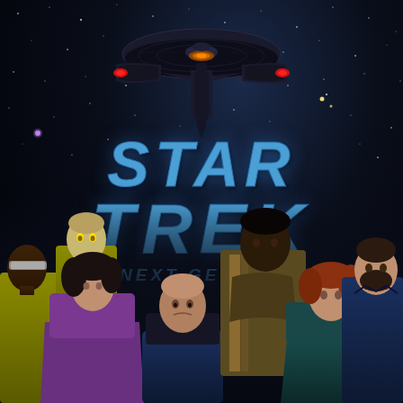[Figure (illustration): Star Trek: The Next Generation promotional cover image. Dark space background with stars. The USS Enterprise-D starship in the upper center. Large stylized blue italic 'STAR TREK' logo text in the middle. 'THE NEXT GENERATION' subtitle below. Seven main cast members posed in the lower half: Geordi La Forge (left, gold uniform with VISOR), Deanna Troi (front left, purple outfit), Data (back center, gold uniform), Captain Picard (front center, dark uniform), Worf (back right, Klingon warrior armor), Dr. Crusher (front right, teal uniform), Commander Riker (far right, dark uniform with beard).]